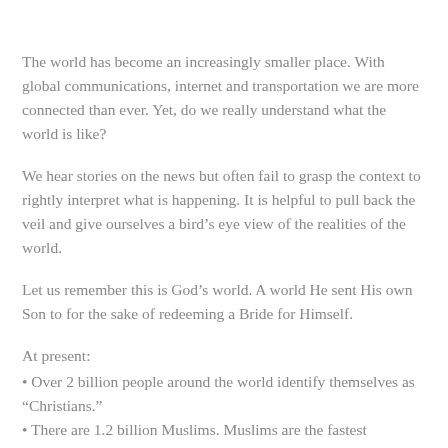The world has become an increasingly smaller place. With global communications, internet and transportation we are more connected than ever. Yet, do we really understand what the world is like?
We hear stories on the news but often fail to grasp the context to rightly interpret what is happening. It is helpful to pull back the veil and give ourselves a bird’s eye view of the realities of the world.
Let us remember this is God’s world. A world He sent His own Son to for the sake of redeeming a Bride for Himself.
At present:
• Over 2 billion people around the world identify themselves as “Christians.”
• There are 1.2 billion Muslims. Muslims are the fastest